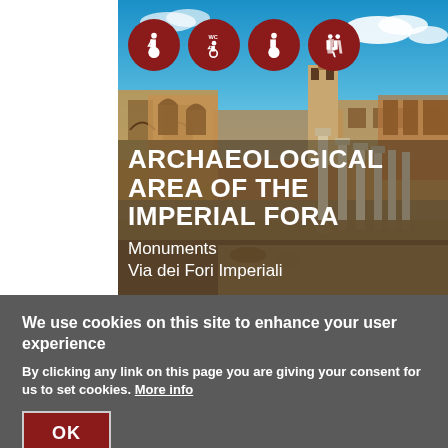[Figure (photo): Photo of the Archaeological Area of the Imperial Fora showing ancient Roman ruins with columns, arches, and historic buildings against a blue sky with clouds]
ARCHAEOLOGICAL AREA OF THE IMPERIAL FORA
Monuments
Via dei Fori Imperiali
We use cookies on this site to enhance your user experience
By clicking any link on this page you are giving your consent for us to set cookies. More info
OK